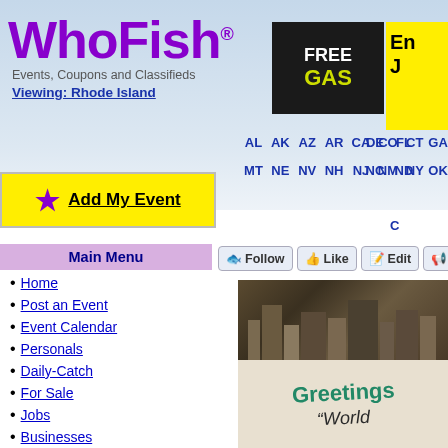[Figure (logo): WhoFish logo in purple text with tagline 'Events, Coupons and Classifieds' and 'Viewing: Rhode Island']
[Figure (photo): FREE GAS advertisement banner with dark background and yellow text]
[Figure (other): Yellow partial banner top right ('En J')]
Viewing: Rhode Island
[Figure (other): State navigation links: AL AK AZ AR CA CO CT DE FL GA / MT NE NV NH NJ NM NY NC ND OK]
[Figure (other): Add My Event yellow button with star icon]
Main Menu
Home
Post an Event
Event Calendar
Personals
Daily-Catch
For Sale
Jobs
Businesses
Public Records
My Listings
Contact Us
Help
Sign Up
[Figure (other): Social action buttons: Follow, Like, Edit, Adv...]
[Figure (photo): Greetings World postcard image with aerial city view]